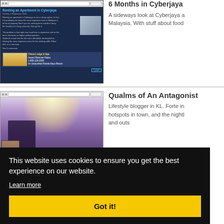6 Months in Cyberjaya
[Figure (screenshot): Screenshot of a blog page titled 'Renting an Apartment in Cyberjaya' with dark blue background, blog post text, inline building photo, and advertisement banner at bottom]
A sideways look at Cyberjaya a Malaysia. With stuff about food
Qualms of An Antagonist
[Figure (photo): Photo of a concert/event scene with bright light and figures in foreground, shown in a browser window]
Lifestyle blogger in KL. Forte in hotspots in town, and the nightl and outs
This website uses cookies to ensure you get the best experience on our website.
Learn more
Got it!
s
e's reflecti ountry. Jo me whilst
exploration.